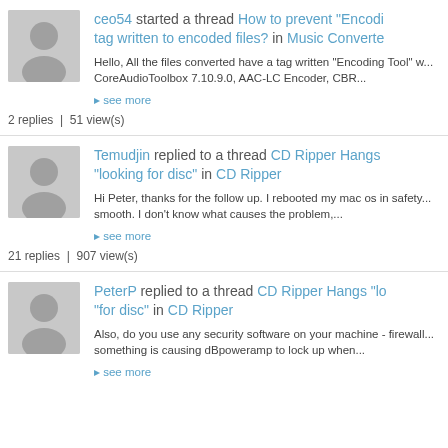ceo54 started a thread How to prevent "Encoding Tool" tag written to encoded files? in Music Converter
Hello, All the files converted have a tag written "Encoding Tool" w... CoreAudioToolbox 7.10.9.0, AAC-LC Encoder, CBR...
▸ see more
2 replies | 51 view(s)
Temudjin replied to a thread CD Ripper Hangs "looking for disc" in CD Ripper
Hi Peter, thanks for the follow up. I rebooted my mac os in safety... smooth. I don't know what causes the problem,...
▸ see more
21 replies | 907 view(s)
PeterP replied to a thread CD Ripper Hangs "looking for disc" in CD Ripper
Also, do you use any security software on your machine - firewall... something is causing dBpoweramp to lock up when...
▸ see more